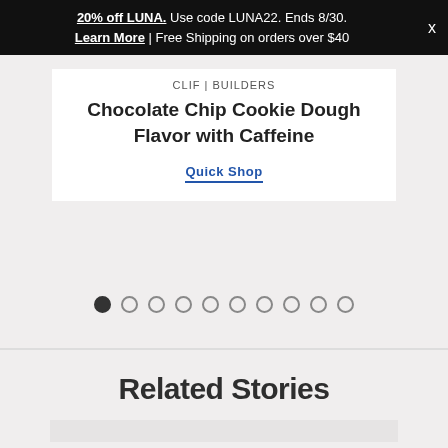20% off LUNA. Use code LUNA22. Ends 8/30. Learn More | Free Shipping on orders over $40
CLIF | BUILDERS
Chocolate Chip Cookie Dough Flavor with Caffeine
Quick Shop
[Figure (other): Carousel pagination dots, 10 total, first one filled/active]
Related Stories
[Figure (other): Story card image placeholder (gray rectangle)]